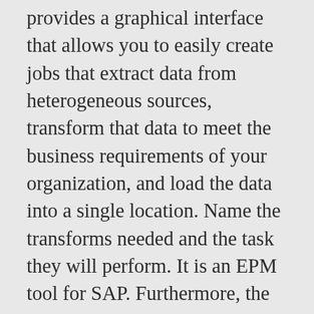provides a graphical interface that allows you to easily create jobs that extract data from heterogeneous sources, transform that data to meet the business requirements of your organization, and load the data into a single location. Name the transforms needed and the task they will perform. It is an EPM tool for SAP. Furthermore, the LSM Workbench provides a recording function that allows generating a "data migration object" to enable migration from any required transaction. Data Migration Interview Questions. lookup() : Briefly, It returns single value based on single condition, lookup_ext(): It returns multiple values based on single/multiple condition(s), lookup_seq(): It returns multiple values based on sequence